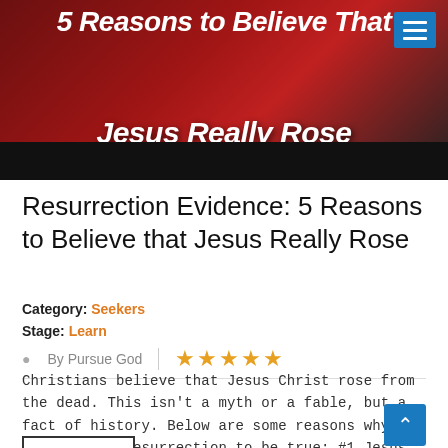[Figure (photo): Hero image showing a person in black clothes against a red/dark background with text overlay '5 Reasons to Believe That Jesus Really Rose' and a hamburger menu icon in top right.]
Resurrection Evidence: 5 Reasons to Believe that Jesus Really Rose
Category: Seekers
Stage: Learn
By Pursue God  |  ★★★★★
Christians believe that Jesus Christ rose from the dead. This isn't a myth or a fable, but a fact of history. Below are some reasons why we believe the resurrection to be true: #1 Jesus certainly d...
MORE